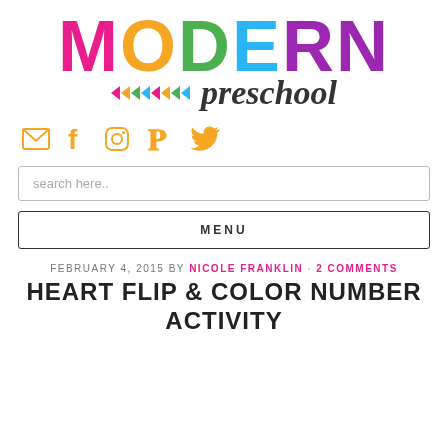[Figure (logo): Modern Preschool logo with colorful block letters spelling MODERN and cursive italic preschool text below with arrow decorations]
[Figure (infographic): Social media icons: email envelope, Facebook f, Instagram camera, Pinterest P, Twitter bird — all in orange/amber color]
search here..
MENU
FEBRUARY 4, 2015 BY NICOLE FRANKLIN · 2 COMMENTS
HEART FLIP & COLOR NUMBER ACTIVITY